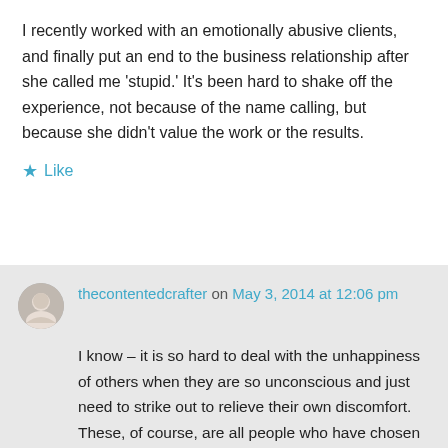I recently worked with an emotionally abusive clients, and finally put an end to the business relationship after she called me 'stupid.' It's been hard to shake off the experience, not because of the name calling, but because she didn't value the work or the results.
★ Like
thecontentedcrafter on May 3, 2014 at 12:06 pm
I know – it is so hard to deal with the unhappiness of others when they are so unconscious and just need to strike out to relieve their own discomfort. These, of course, are all people who have chosen to